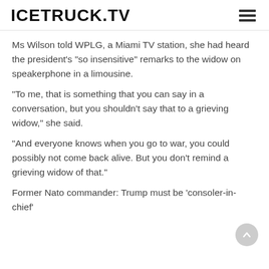ICETRUCK.TV
Ms Wilson told WPLG, a Miami TV station, she had heard the president's "so insensitive" remarks to the widow on speakerphone in a limousine.
"To me, that is something that you can say in a conversation, but you shouldn't say that to a grieving widow," she said.
"And everyone knows when you go to war, you could possibly not come back alive. But you don't remind a grieving widow of that."
Former Nato commander: Trump must be 'consoler-in-chief'